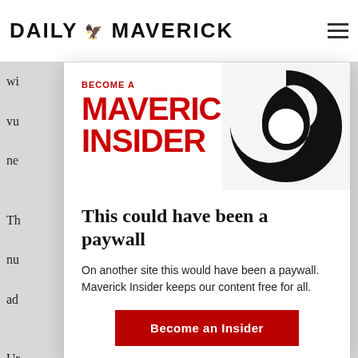DAILY MAVERICK
[Figure (logo): Daily Maverick logo with bird graphic and site name in bold uppercase letters]
[Figure (infographic): Maverick Insider promotional modal overlay showing 'BECOME A MAVERICK INSIDER' logo with large black swirl graphic, paywall message, and sign-up button]
This could have been a paywall
On another site this would have been a paywall. Maverick Insider keeps our content free for all.
Become an Insider
Already an Insider? Click here to log in.